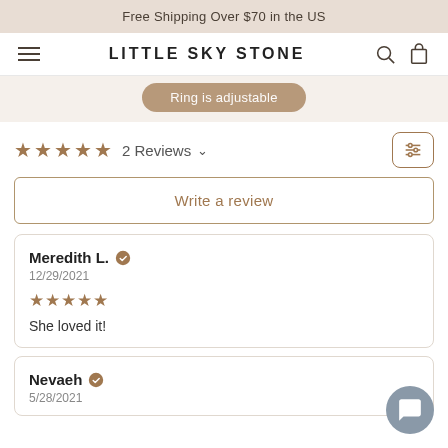Free Shipping Over $70 in the US
LITTLE SKY STONE
Ring is adjustable
2 Reviews
Write a review
Meredith L. — 12/29/2021 — 5 stars — She loved it!
Nevaeh — 5/28/2021